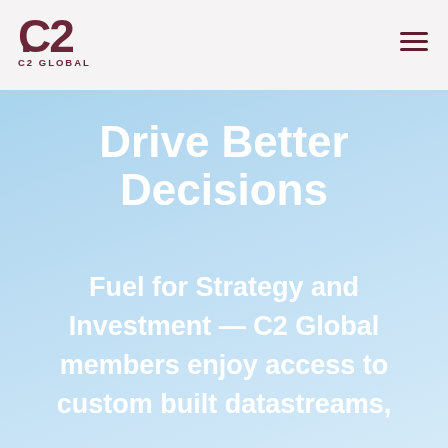[Figure (logo): C2 Global logo with stylized C2 text and tagline 'C2 GLOBAL' beneath]
Drive Better Decisions
Fuel for Strategy and Investment — C2 Global members enjoy access to custom built datastreams,